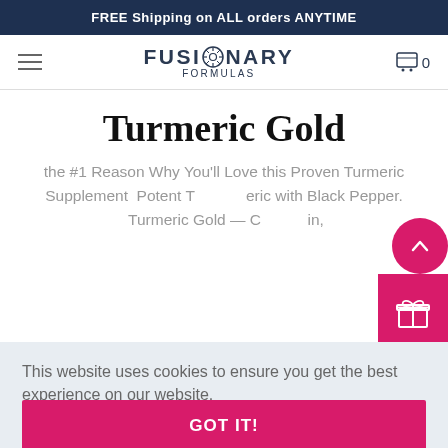FREE Shipping on ALL orders ANYTIME
[Figure (screenshot): Fusionary Formulas navigation bar with hamburger menu, logo with compass icon, and cart icon showing 0]
Turmeric Gold
the #1 Reason Why You'll Love this Proven Turmeric Supplement  Potent Turmeric with Black Pepper.  Turmeric Gold — Curcumin,
This website uses cookies to ensure you get the best experience on our website. Learn More
GOT IT!